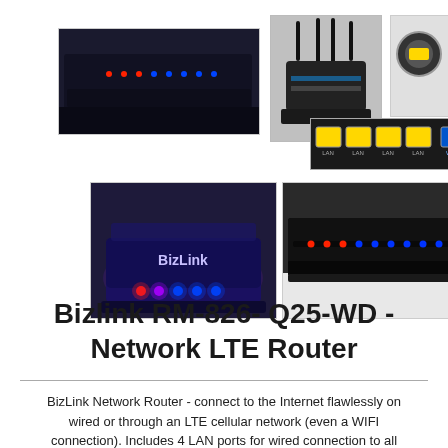[Figure (photo): Collection of product photos showing the Bizlink RM-826-Q25-WD Network LTE Router from various angles: front panel with LED lights, full device with antennas, side/port views, and close-ups of the router glowing with LED indicators in dark settings.]
Bizlink RM-826- Q25-WD - Network LTE Router
BizLink Network Router - connect to the Internet flawlessly on wired or through an LTE cellular network (even a WIFI connection). Includes 4 LAN ports for wired connection to all